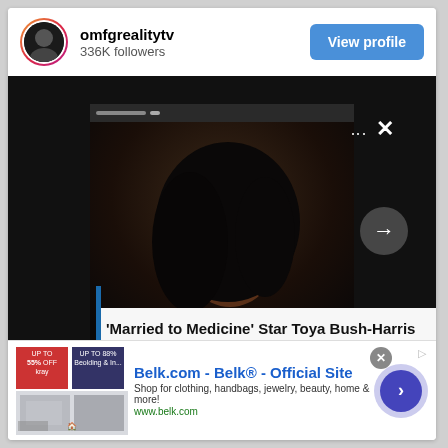[Figure (screenshot): Instagram profile widget for omfgrealitytv with 336K followers, showing a video post screenshot of a woman with text overlay reading 'Married to Medicine Star Toya Bush-Harris Sets the Record Straight About Her Finances', with a View profile button and View more on link]
[Figure (screenshot): Advertisement banner for Belk.com showing 'Belk® - Official Site', 'Shop for clothing, handbags, jewelry, beauty, home & more!', 'www.belk.com', with product image thumbnails and a forward arrow button]